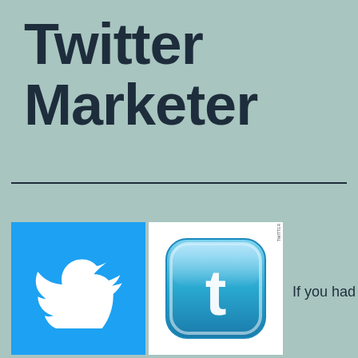Twitter Marketer
[Figure (illustration): Two Twitter logos side by side: left is the classic Twitter bird on a blue background, right is a glossy blue rounded-square icon with the letter t.]
If you had a